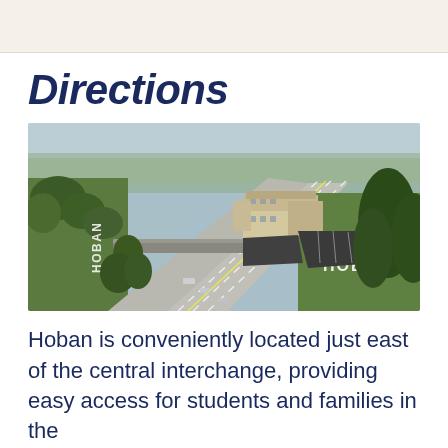[Figure (photo): Aerial drone photograph showing Archbishop Hoban High School campus located just east of a major highway interchange. The image shows the school buildings, parking lot, and surrounding green spaces. 'HOBAN' is written in large white letters on the grass fields on both sides of the highway.]
Directions
Hoban is conveniently located just east of the central interchange, providing easy access for students and families in the